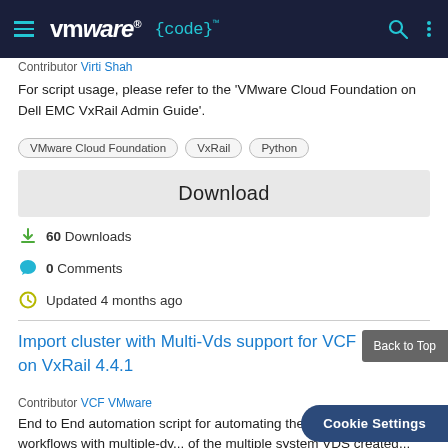[Figure (logo): VMware {code} navigation header with hamburger menu, logo, search and menu icons on dark navy background]
Contributor Virti Shah
For script usage, please refer to the 'VMware Cloud Foundation on Dell EMC VxRail Admin Guide'.
VMware Cloud Foundation   VxRail   Python
Download
60 Downloads
0 Comments
Updated 4 months ago
Import cluster with Multi-Vds support for VCF on VxRail 4.4.1
Contributor VCF VMware
End to End automation script for automating the import cluster workflows with multiple-dv... of the multiple system VDS created...